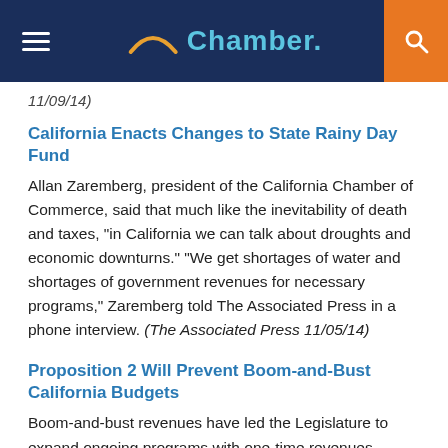Chamber.
11/09/14)
California Enacts Changes to State Rainy Day Fund
Allan Zaremberg, president of the California Chamber of Commerce, said that much like the inevitability of death and taxes, "in California we can talk about droughts and economic downturns." "We get shortages of water and shortages of government revenues for necessary programs," Zaremberg told The Associated Press in a phone interview. (The Associated Press 11/05/14)
Proposition 2 Will Prevent Boom-and-Bust California Budgets
Boom-and-bust revenues have led the Legislature to expand ongoing programs with one-time revenues. When the inevitable economic downturn hits, those programs are cut and enormous pressure builds to raise taxes. Fortunately on